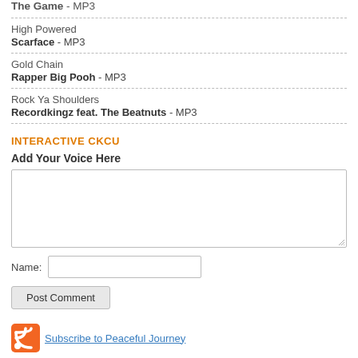The Game - MP3
High Powered
Scarface - MP3
Gold Chain
Rapper Big Pooh - MP3
Rock Ya Shoulders
Recordkingz feat. The Beatnuts - MP3
INTERACTIVE CKCU
Add Your Voice Here
Name:
Post Comment
Subscribe to Peaceful Journey